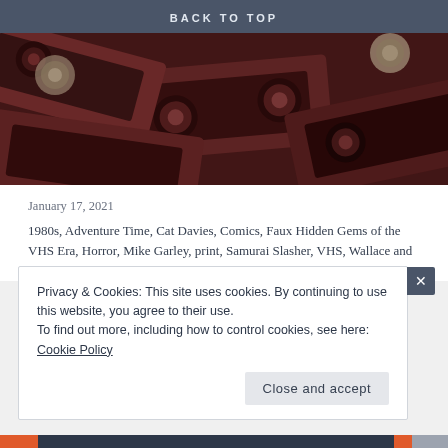BACK TO TOP
[Figure (illustration): Illustration of multiple VHS tapes stacked and overlapping, rendered in dark red/brown tones with detailed artwork showing tape reels and cassette bodies.]
January 17, 2021
1980s, Adventure Time, Cat Davies, Comics, Faux Hidden Gems of the VHS Era, Horror, Mike Garley, print, Samurai Slasher, VHS, Wallace and Gromit, writer, writing
Privacy & Cookies: This site uses cookies. By continuing to use this website, you agree to their use.
To find out more, including how to control cookies, see here: Cookie Policy
Close and accept